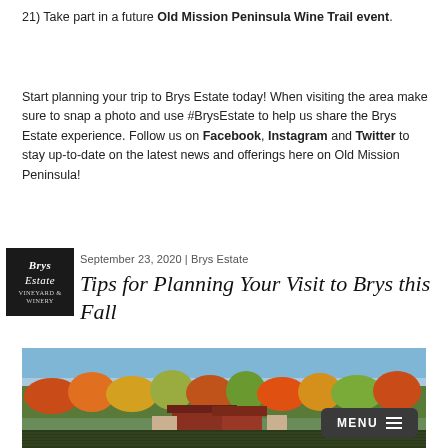21) Take part in a future Old Mission Peninsula Wine Trail event.
Start planning your trip to Brys Estate today! When visiting the area make sure to snap a photo and use #BrysEstate to help us share the Brys Estate experience. Follow us on Facebook, Instagram and Twitter to stay up-to-date on the latest news and offerings here on Old Mission Peninsula!
[Figure (logo): Brys Estate Vineyard & Winery logo, black square with white text]
September 23, 2020 | Brys Estate
Tips for Planning Your Visit to Brys this Fall
[Figure (photo): Aerial view of Brys Estate vineyard in fall with colorful autumn foliage and winery buildings under a blue sky]